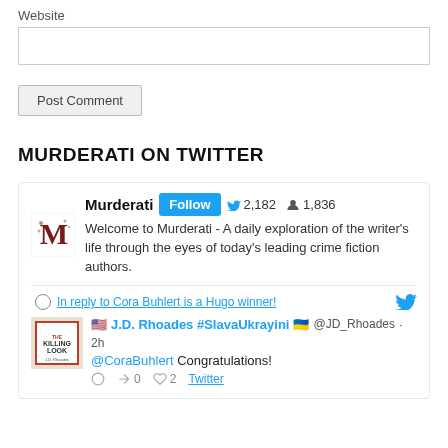Website
[input field]
Post Comment
MURDERATI ON TWITTER
[Figure (screenshot): Twitter widget showing Murderati account with Follow button, 2,182 tweets, 1,836 followers, and bio: Welcome to Murderati - A daily exploration of the writer's life through the eyes of today's leading crime fiction authors.]
In reply to Cora Buhlert is a Hugo winner!
🇺🇸 J.D. Rhoades #SlavaUkrayini 🇺🇦 @JD_Rhoades · 2h
@CoraBuhlert Congratulations!